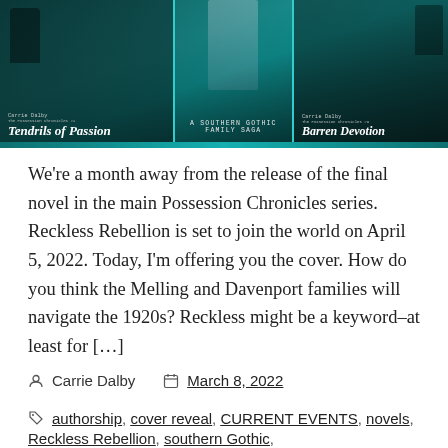[Figure (illustration): Book cover collage for the Possession Chronicles series by Carrie Dalby on a teal/dark green background. Left panel shows 'Tendrils of Passion', center panel shows a Southern Gothic family saga scene with people on stairs, right panel shows 'Barren Devotion'. Text reads 'A Southern Gothic Family Saga'.]
We're a month away from the release of the final novel in the main Possession Chronicles series. Reckless Rebellion is set to join the world on April 5, 2022. Today, I'm offering you the cover. How do you think the Melling and Davenport families will navigate the 1920s? Reckless might be a keyword–at least for […]
Carrie Dalby  March 8, 2022
authorship, cover reveal, CURRENT EVENTS, novels, Reckless Rebellion, southern Gothic,